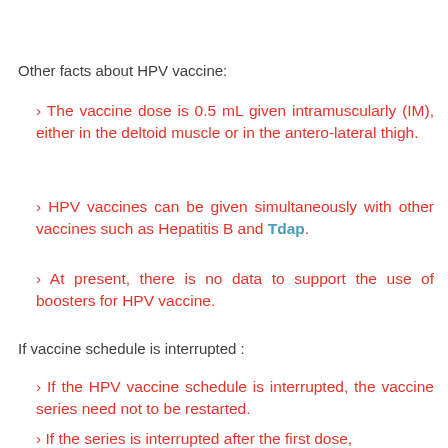Other facts about HPV vaccine:
› The vaccine dose is 0.5 mL given intramuscularly (IM), either in the deltoid muscle or in the antero-lateral thigh.
› HPV vaccines can be given simultaneously with other vaccines such as Hepatitis B and Tdap.
› At present, there is no data to support the use of boosters for HPV vaccine.
If vaccine schedule is interrupted :
› If the HPV vaccine schedule is interrupted, the vaccine series need not to be restarted.
› If the series is interrupted after the first dose,